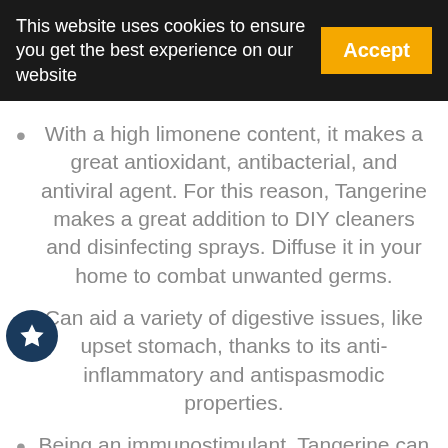This website uses cookies to ensure you get the best experience on our website  Accept
With a high limonene content, it makes a great antioxidant, antibacterial, and antiviral agent. For this reason, Tangerine makes a great addition to DIY cleaners and disinfecting sprays. Diffuse it in your home to combat unwanted germs.
Can aid a variety of digestive issues, like upset stomach, thanks to its anti-inflammatory and antispasmodic properties.
Being an immunostimulant, Tangerine can help support a healthy immune system during cold and flu season.